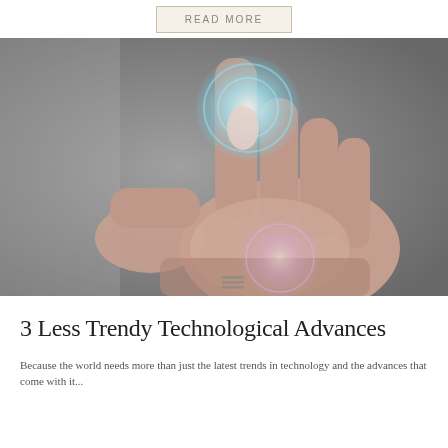READ MORE
[Figure (photo): A human hand reaching upward with a finger touching a glowing blue circular interface element, on a gray gradient background — a technology touchscreen concept image.]
3 Less Trendy Technological Advances
Excerpt text beginning at the bottom of the page...